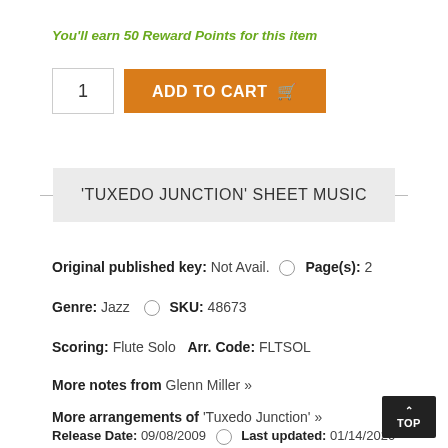You'll earn 50 Reward Points for this item
1   ADD TO CART
'TUXEDO JUNCTION' SHEET MUSIC
Original published key: Not Avail.  Page(s): 2
Genre: Jazz  SKU: 48673
Scoring: Flute Solo  Arr. Code: FLTSOL
More notes from Glenn Miller »
More arrangements of 'Tuxedo Junction' »
Release Date: 09/08/2009  Last updated: 01/14/2020